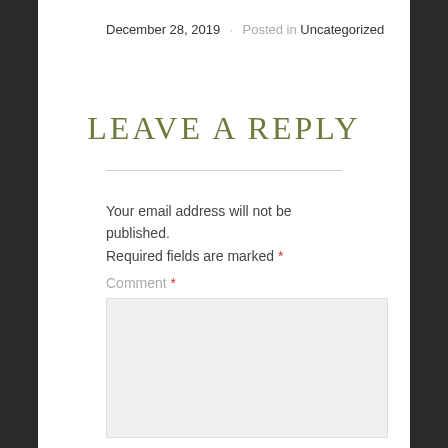December 28, 2019 · Posted in Uncategorized
Leave a Reply
Your email address will not be published. Required fields are marked *
Comment *